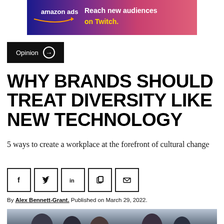[Figure (other): Amazon Ads banner advertisement with gradient purple-pink background. Text reads 'amazon ads' with smile logo on left, and 'Reach new audiences on Twitch.' on right in white and yellow text.]
Opinion →
WHY BRANDS SHOULD TREAT DIVERSITY LIKE NEW TECHNOLOGY
5 ways to create a workplace at the forefront of cultural change
[Figure (infographic): Social sharing icons row: Facebook (f), Twitter (bird), LinkedIn (in), Copy link (pages icon), Email (envelope icon) — each in a square outline box.]
By Alex Bennett-Grant. Published on March 29, 2022.
[Figure (photo): Photo of a diverse group of people, appearing to look at something together, cropped at bottom of page.]